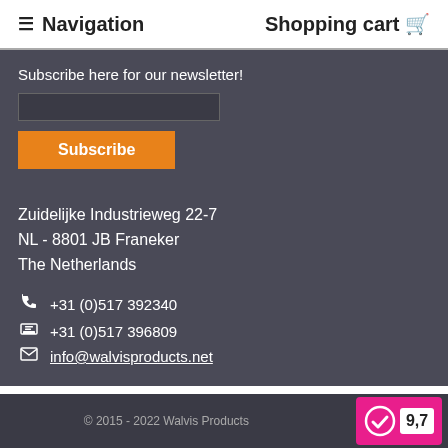≡ Navigation   Shopping cart 🛒
Subscribe here for our newsletter!
Subscribe
Zuidelijke Industrieweg 22-7
NL - 8801 JB Franeker
The Netherlands
+31 (0)517 392340
+31 (0)517 396809
info@walvisproducts.net
Contactform
© 2015 - 2022 Walvis Products   9,7